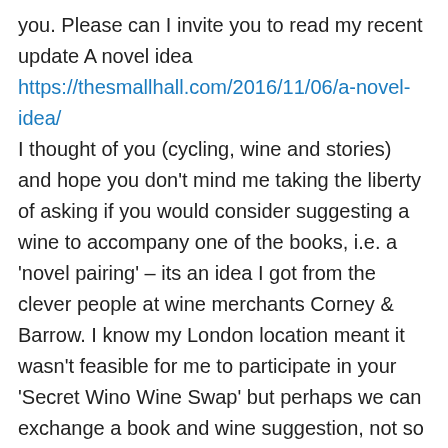you. Please can I invite you to read my recent update A novel idea https://thesmallhall.com/2016/11/06/a-novel-idea/ I thought of you (cycling, wine and stories) and hope you don't mind me taking the liberty of asking if you would consider suggesting a wine to accompany one of the books, i.e. a 'novel pairing' – its an idea I got from the clever people at wine merchants Corney & Barrow. I know my London location meant it wasn't feasible for me to participate in your 'Secret Wino Wine Swap' but perhaps we can exchange a book and wine suggestion, not so secretly. If you've not read The Rider by Tim Krabbe and feel you'd like to take on the challenge of proposing a suitable